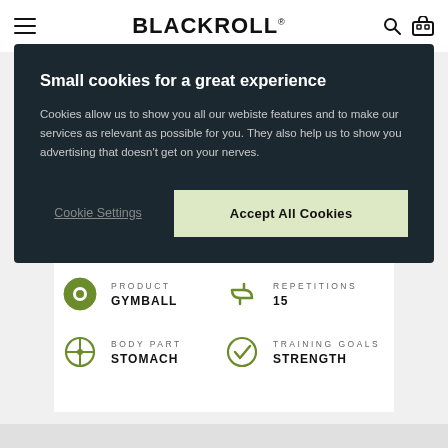BLACKROLL
Small cookies for a great experience
Cookies allow us to show you all our webiste features and to make our services as relevant as possible for you. They also help us to show you advertising that doesn't get on your nerves.
Cookie Settings
Accept All Cookies
PRODUCT
GYMBALL
REPETITIONS
15
BODY PART
STOMACH
TRAINING GOALS
STRENGTH